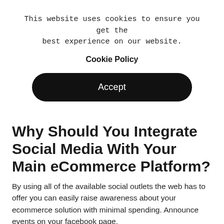This website uses cookies to ensure you get the best experience on our website.
Cookie Policy
Accept
Why Should You Integrate Social Media With Your Main eCommerce Platform?
By using all of the available social outlets the web has to offer you can easily raise awareness about your ecommerce solution with minimal spending. Announce events on your facebook page,